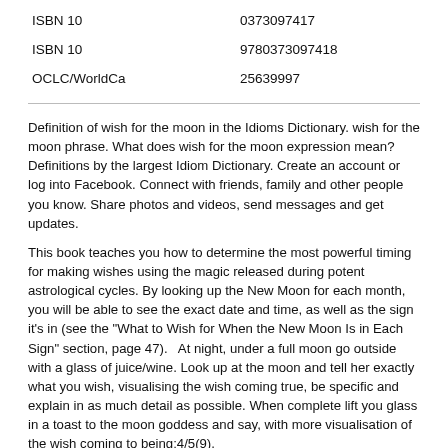| ISBN 10 | 0373097417 |
| ISBN 10 | 9780373097418 |
| OCLC/WorldCa | 25639997 |
Definition of wish for the moon in the Idioms Dictionary. wish for the moon phrase. What does wish for the moon expression mean? Definitions by the largest Idiom Dictionary. Create an account or log into Facebook. Connect with friends, family and other people you know. Share photos and videos, send messages and get updates.
This book teaches you how to determine the most powerful timing for making wishes using the magic released during potent astrological cycles. By looking up the New Moon for each month, you will be able to see the exact date and time, as well as the sign it's in (see the "What to Wish for When the New Moon Is in Each Sign" section, page 47).   At night, under a full moon go outside with a glass of juice/wine. Look up at the moon and tell her exactly what you wish, visualising the wish coming true, be specific and explain in as much detail as possible. When complete lift you glass in a toast to the moon goddess and say, with more visualisation of the wish coming to being:4/5(9).
Wish for the moon by Mortimer, Carole. Publication date Topics Every book by Carole has until now been a 5-star to me,this certainly is Previews Internet Archive Books. Scanned in China. Uploaded by Tracey Gutierres on Ma Pages:   Wish On The Moon. By Karen Rose